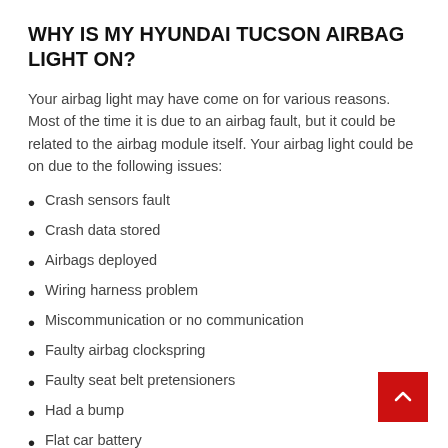WHY IS MY HYUNDAI TUCSON AIRBAG LIGHT ON?
Your airbag light may have come on for various reasons. Most of the time it is due to an airbag fault, but it could be related to the airbag module itself. Your airbag light could be on due to the following issues:
Crash sensors fault
Crash data stored
Airbags deployed
Wiring harness problem
Miscommunication or no communication
Faulty airbag clockspring
Faulty seat belt pretensioners
Had a bump
Flat car battery
Damaged circuit board
While these are the most common faults, your airbag light may be on for other reasons. Regardless of what it is, you